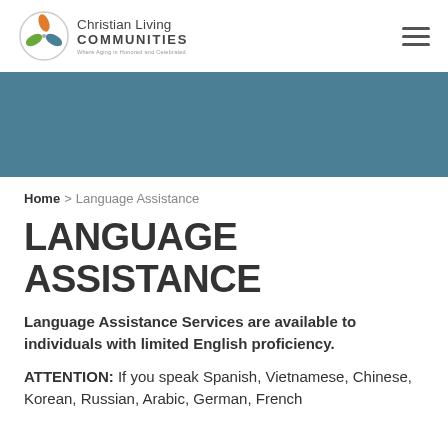Christian Living Communities — Where Aging is Honored and Celebrated
[Figure (logo): Christian Living Communities logo with circular leaf design in orange, green, and blue]
Home > Language Assistance
LANGUAGE ASSISTANCE
Language Assistance Services are available to individuals with limited English proficiency.
ATTENTION: If you speak Spanish, Vietnamese, Chinese, Korean, Russian, Arabic, German, French